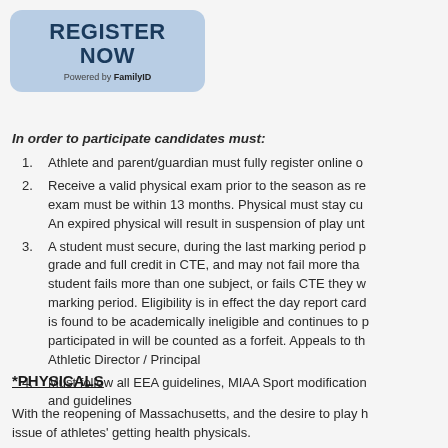[Figure (other): Register Now button powered by FamilyID, rounded rectangle with blue background]
In order to participate candidates must:
1. Athlete and parent/guardian must fully register online o...
2. Receive a valid physical exam prior to the season as rec... exam must be within 13 months. Physical must stay cu... An expired physical will result in suspension of play until...
3. A student must secure, during the last marking period p... grade and full credit in CTE, and may not fail more than... student fails more than one subject, or fails CTE they w... marking period. Eligibility is in effect the day report cards... is found to be academically ineligible and continues to p... participated in will be counted as a forfeit. Appeals to th... Athletic Director / Principal
4. Must follow all EEA guidelines, MIAA Sport modification... and guidelines
*PHYSICALS
With the reopening of Massachusetts, and the desire to play h... issue of athletes' getting health physicals.